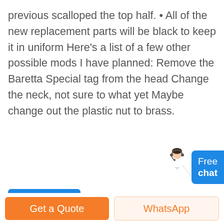previous scalloped the top half. • All of the new replacement parts will be black to keep it in uniform Here's a list of a few other possible mods I have planned: Remove the Baretta Special tag from the head Change the neck, not sure to what yet Maybe change out the plastic nut to brass.
[Figure (photo): Industrial or warehouse building exterior with large windows and blue cladding, with a yellow metal frame structure (canopy/scaffold) in the foreground]
Get a Quote
WhatsApp